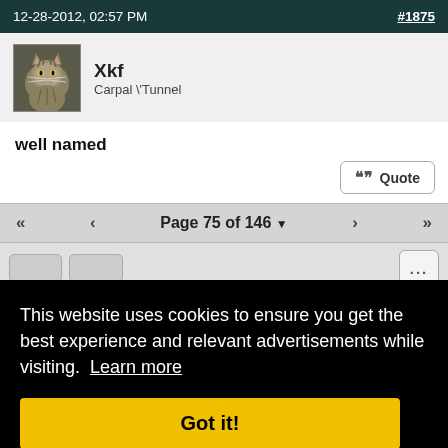12-28-2012, 02:57 PM   #1875
Xkf
Carpal \Tunnel
well named
≡ Quote
<< < Page 75 of 146 ▾ > >>
...
↑ Top
This website uses cookies to ensure you get the best experience and relevant advertisements while visiting. Learn more
Got it!